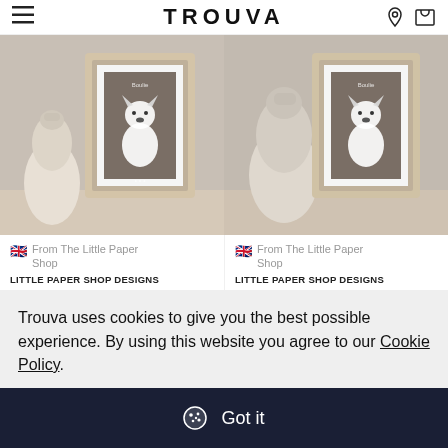TROUVA
[Figure (photo): Two framed custom pet portrait illustrations of a French Bulldog on a taupe background, displayed on a wooden surface with a round ceramic vase, shown side by side in product cards]
From The Little Paper Shop
LITTLE PAPER SHOP DESIGNS
TLPS Custom Pet Portrait Illustration A 4
$77.00
From The Little Paper Shop
LITTLE PAPER SHOP DESIGNS
TLPS Custom Pet Portrait Illustration A 4
$77.00
Trouva uses cookies to give you the best possible experience. By using this website you agree to our Cookie Policy.
Got it